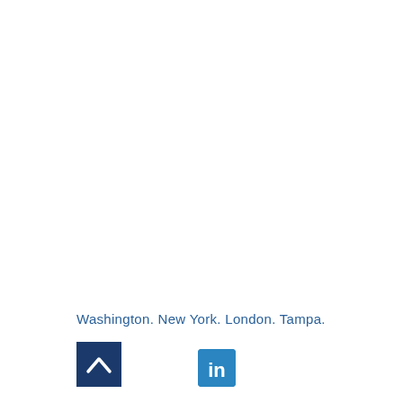Washington. New York. London. Tampa.
[Figure (logo): Dark navy square logo with white upward-pointing chevron/caret symbol]
[Figure (logo): LinkedIn square logo icon with white 'in' text on blue background]